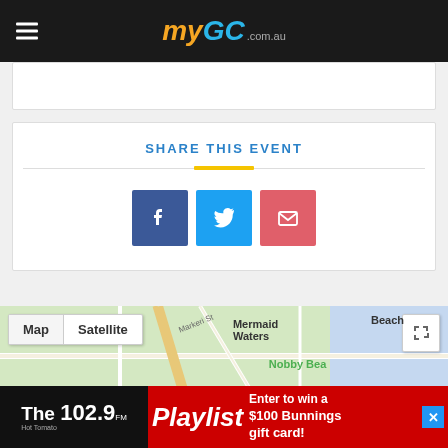myGC.com.au
SHARE THIS EVENT
[Figure (infographic): Social share buttons: Facebook (blue), Twitter (cyan), Email (pink/red)]
[Figure (map): Google Map showing Mermaid Waters and Nobby Beach area on Gold Coast]
[Figure (infographic): Advertisement banner for 102.9 Hot Tomato Playlist - Enter to win a $100 Bunnings gift card!]